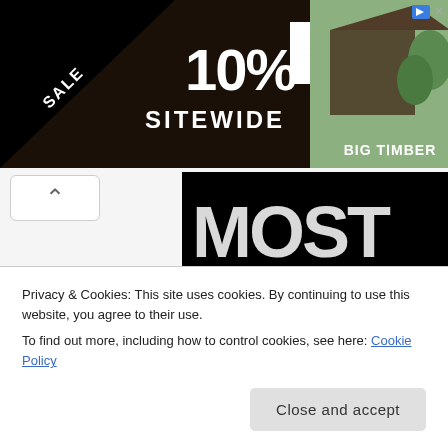[Figure (screenshot): Advertisement banner: black background with '10% OFF SITEWIDE' promo text, 'SHOP NOW / ENDS 8/31' call to action button, gazebo photo, and 'BIG TIMBER' branding]
[Figure (screenshot): Music blog logo: black background showing 'MOST HEARD' in large distressed grunge typography with 'RADIO SHOWS / MUSIC BLOGS / LABELS' below]
Privacy & Cookies: This site uses cookies. By continuing to use this website, you agree to their use.
To find out more, including how to control cookies, see here: Cookie Policy
Close and accept